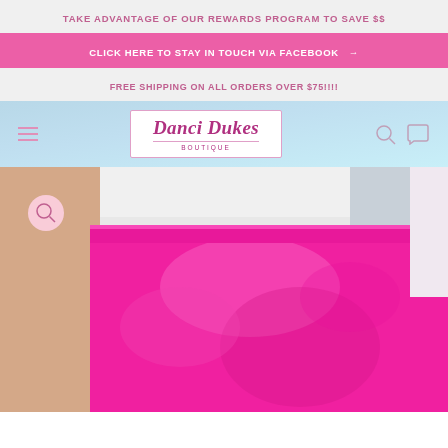TAKE ADVANTAGE OF OUR REWARDS PROGRAM TO SAVE $$
CLICK HERE TO STAY IN TOUCH VIA FACEBOOK →
FREE SHIPPING ON ALL ORDERS OVER $75!!!!
[Figure (logo): Danci Dukes Boutique logo in a bordered box with cursive pink text]
[Figure (photo): Close-up photo of a person wearing a bright hot-pink satin mini skirt with a white top, showing the waist area]